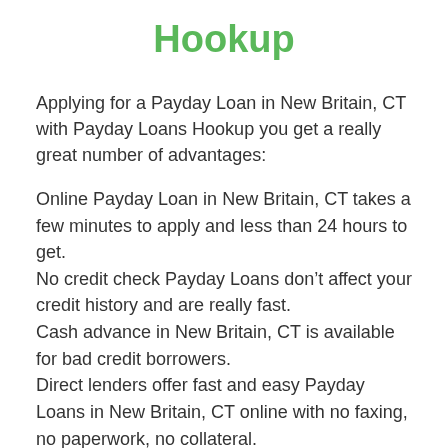Hookup
Applying for a Payday Loan in New Britain, CT with Payday Loans Hookup you get a really great number of advantages:
Online Payday Loan in New Britain, CT takes a few minutes to apply and less than 24 hours to get.
No credit check Payday Loans don't affect your credit history and are really fast.
Cash advance in New Britain, CT is available for bad credit borrowers.
Direct lenders offer fast and easy Payday Loans in New Britain, CT online with no faxing, no paperwork, no collateral.
Short-term loans in New Britain, CT have convenient repayment terms of 14 – 30 days with an automatic withdrawal of money from your account on a due date